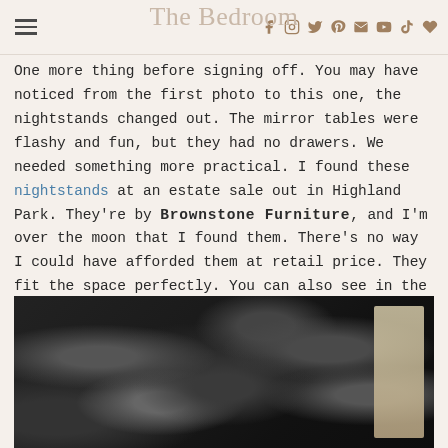The Bedroom
One more thing before signing off. You may have noticed from the first photo to this one, the nightstands changed out. The mirror tables were flashy and fun, but they had no drawers. We needed something more practical. I found these nightstands at an estate sale out in Highland Park. They're by Brownstone Furniture, and I'm over the moon that I found them. There's no way I could have afforded them at retail price. They fit the space perfectly. You can also see in the photo below my white trim. Gah!
[Figure (photo): Dark floral/abstract wallpaper in black and grey tones with the edge of a cream/beige nightstand or furniture piece visible on the right side.]